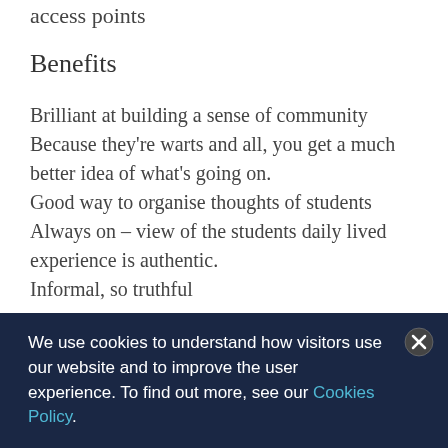access points
Benefits
Brilliant at building a sense of community
Because they're warts and all, you get a much better idea of what's going on.
Good way to organise thoughts of students
Always on – view of the students daily lived experience is authentic.
Informal, so truthful
We use cookies to understand how visitors use our website and to improve the user experience. To find out more, see our Cookies Policy.